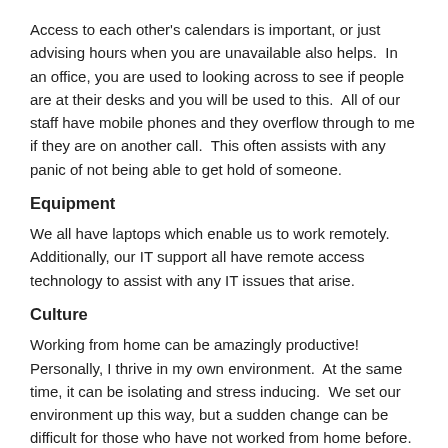Access to each other's calendars is important, or just advising hours when you are unavailable also helps.  In an office, you are used to looking across to see if people are at their desks and you will be used to this.  All of our staff have mobile phones and they overflow through to me if they are on another call.  This often assists with any panic of not being able to get hold of someone.
Equipment
We all have laptops which enable us to work remotely.  Additionally, our IT support all have remote access technology to assist with any IT issues that arise.
Culture
Working from home can be amazingly productive!  Personally, I thrive in my own environment.  At the same time, it can be isolating and stress inducing.  We set our environment up this way, but a sudden change can be difficult for those who have not worked from home before.  It is vital to touch base with the team regularly and keep open lines of communication.  Also